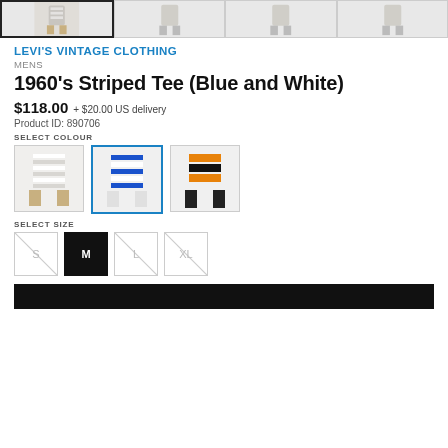[Figure (photo): Four thumbnail product images of the striped tee at top, first selected with dark border]
LEVI'S VINTAGE CLOTHING
MENS
1960's Striped Tee (Blue and White)
$118.00 + $20.00 US delivery
Product ID: 890706
SELECT COLOUR
[Figure (photo): Three colour variant swatches: grey/white stripes, blue/white stripes (selected), orange/black stripes]
SELECT SIZE
[Figure (other): Four size buttons: S (unavailable crossed), M (selected black), L (unavailable crossed), XL (unavailable crossed)]
[Figure (other): Black bar at bottom (button)]